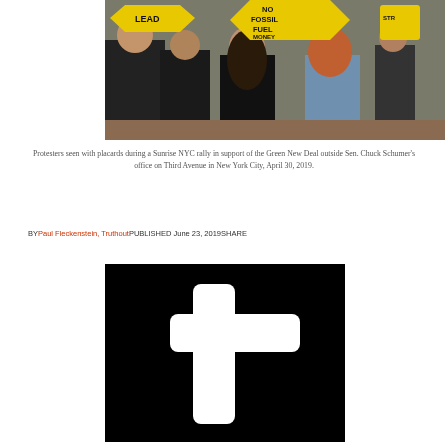[Figure (photo): Protesters carrying yellow diamond-shaped signs reading 'NO FOSSIL FUEL MONEY' and 'LEAD' at a Sunrise NYC rally in New York City.]
Protesters seen with placards during a Sunrise NYC rally in support of the Green New Deal outside Sen. Chuck Schumer's office on Third Avenue in New York City, April 30, 2019.
BY Paul Fleckenstein, Truthout PUBLISHED June 23, 2019 SHARE
[Figure (logo): Truthout logo — white letter 't' on black background]